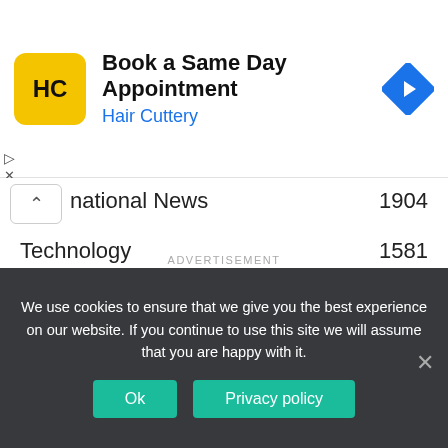[Figure (screenshot): Hair Cuttery advertisement banner: yellow square logo with HC initials, headline 'Book a Same Day Appointment', subheading 'Hair Cuttery' in blue, and a blue diamond navigation arrow icon on the right.]
| Category | Count |
| --- | --- |
| National News | 1904 |
| Technology | 1581 |
| Sports | 1478 |
| Entertainment | 854 |
| Health | 610 |
ADVERTISEMENT
We use cookies to ensure that we give you the best experience on our website. If you continue to use this site we will assume that you are happy with it.